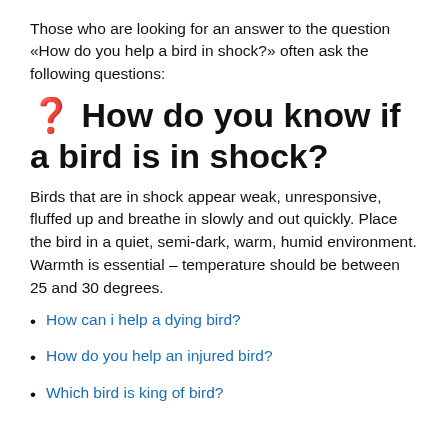Those who are looking for an answer to the question «How do you help a bird in shock?» often ask the following questions:
❓ How do you know if a bird is in shock?
Birds that are in shock appear weak, unresponsive, fluffed up and breathe in slowly and out quickly. Place the bird in a quiet, semi-dark, warm, humid environment. Warmth is essential – temperature should be between 25 and 30 degrees.
How can i help a dying bird?
How do you help an injured bird?
Which bird is king of bird?